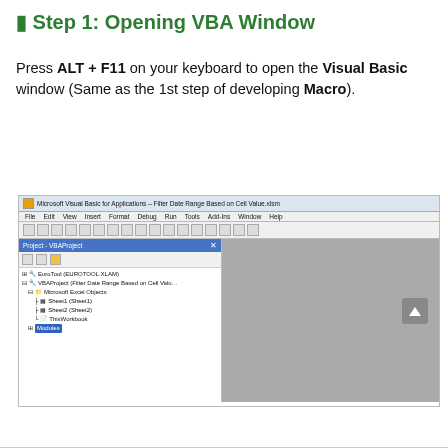🟩 Step 1: Opening VBA Window
Press ALT + F11 on your keyboard to open the Visual Basic window (Same as the 1st step of developing Macro).
[Figure (screenshot): Microsoft Visual Basic for Applications window showing the Project - VBAProject panel with EuroTool (EUROTOOL.XLAM) and VBAProject (Filter Date Range Based on Cell Value) entries, with Modules selected. The right side shows a grey code area.]